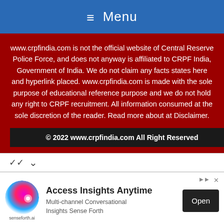≡ Menu
www.crpfindia.com is not the official website of Central Reserve Police Force, and does not anyway is affiliated to CRPF India, Government of India. We do not claim any facts states here and hyperlink placed. www.crpfindia.com is made with the sole purpose of educational reference purpose and we do not hold any right to CRPF recruitment. All information consumed at the sole discretion of the reader. Read more about at Disclaimer.
© 2022 www.crpfindia.com All Right Reserved
[Figure (screenshot): Advertisement banner: senseforth.ai - Access Insights Anytime, Multi-channel Conversational Insights Sense Forth, with Open button]